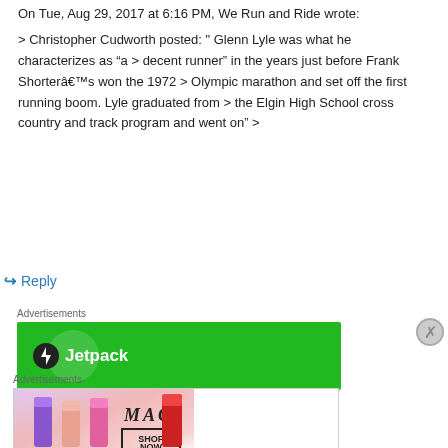On Tue, Aug 29, 2017 at 6:16 PM, We Run and Ride wrote:
> Christopher Cudworth posted: " Glenn Lyle was what he characterizes as “a > decent runner” in the years just before Frank Shorterâs won the 1972 > Olympic marathon and set off the first running boom. Lyle graduated from > the Elgin High School cross country and track program and went on" >
↳ Reply
Advertisements
[Figure (screenshot): Jetpack advertisement with green background and Jetpack logo/text]
Advertisements
[Figure (screenshot): MAC cosmetics advertisement with lipstick products and Shop Now button]